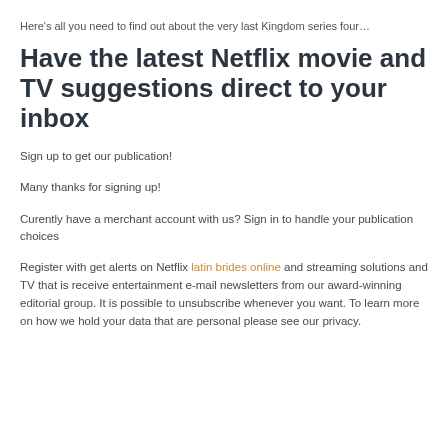Here's all you need to find out about the very last Kingdom series four…
Have the latest Netflix movie and TV suggestions direct to your inbox
Sign up to get our publication!
Many thanks for signing up!
Curently have a merchant account with us? Sign in to handle your publication choices
Register with get alerts on Netflix latin brides online and streaming solutions and TV that is receive entertainment e-mail newsletters from our award-winning editorial group. It is possible to unsubscribe whenever you want. To learn more on how we hold your data that are personal please see our privacy.